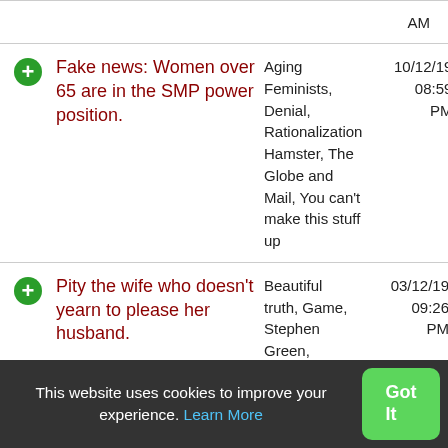|  | Title | Tags | Date |
| --- | --- | --- | --- |
|  |  |  | AM |
| + | Fake news: Women over 65 are in the SMP power position. | Aging Feminists, Denial, Rationalization Hamster, The Globe and Mail, You can't make this stuff up | 10/12/19 08:59 PM |
| + | Pity the wife who doesn't yearn to please her husband. | Beautiful truth, Game, Stephen Green, Stephen Kruiser, Traditional Conservatives | 03/12/19 09:26 PM |
| + | Humorless scoids, | Dalrockâs Law Gates, Ugly Feminists | 0?/?/1? 09:?? PM |
This website uses cookies to improve your experience. Learn More
Got It